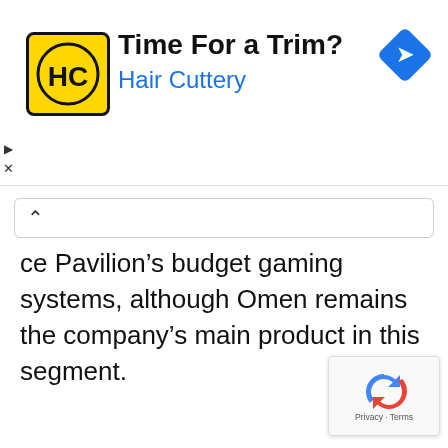[Figure (infographic): Hair Cuttery advertisement banner with yellow HC logo, text 'Time For a Trim?' and 'Hair Cuttery' in blue, and a blue navigation diamond icon on the right]
ce Pavilion’s budget gaming systems, although Omen remains the company’s main product in this segment.
[Figure (infographic): Google reCAPTCHA badge with recycling arrow icon and 'Privacy - Terms' text]